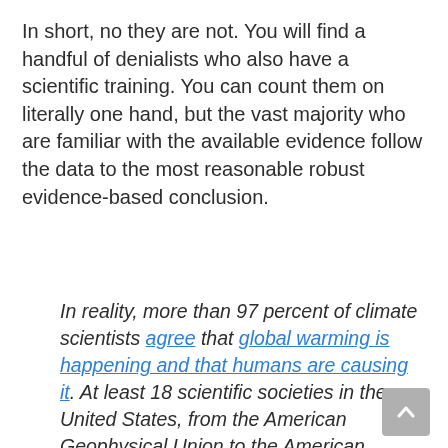In short, no they are not. You will find a handful of denialists who also have a scientific training. You can count them on literally one hand, but the vast majority who are familiar with the available evidence follow the data to the most reasonable robust evidence-based conclusion.
In reality, more than 97 percent of climate scientists agree that global warming is happening and that humans are causing it. At least 18 scientific societies in the United States, from the American Geophysical Union to the American Medical Association, have issued official statements on climate change. And it's been more than 50